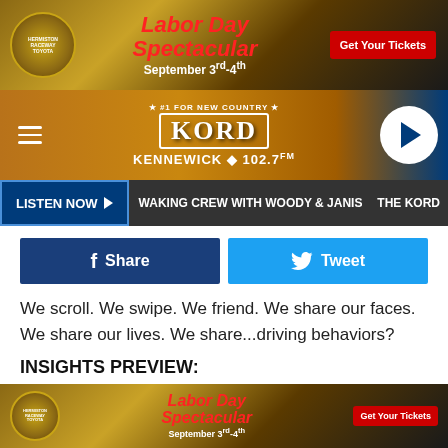[Figure (screenshot): Top advertisement banner for Hermiston Raceway Labor Day Spectacular, September 3rd-4th with Get Your Tickets button]
[Figure (screenshot): KORD 102.7 FM radio station header with hamburger menu, KORD logo, and play button]
LISTEN NOW | WAKING CREW WITH WOODY & JANIS | THE KORD
[Figure (screenshot): Share on Facebook and Tweet social sharing buttons]
We scroll. We swipe. We friend. We share our faces. We share our lives. We share...driving behaviors?
INSIGHTS PREVIEW:
Facebook was the most popular social network, garnering support from almost half of all users surveyed.
[Figure (screenshot): Bottom advertisement banner for Hermiston Raceway Labor Day Spectacular, September 3rd-4th with Get Your Tickets button]